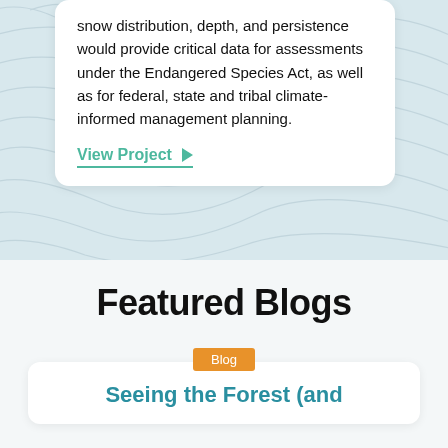snow distribution, depth, and persistence would provide critical data for assessments under the Endangered Species Act, as well as for federal, state and tribal climate-informed management planning.
View Project ▶
Featured Blogs
Blog
Seeing the Forest (and